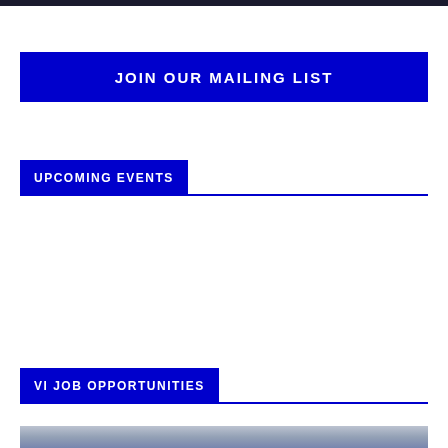JOIN OUR MAILING LIST
UPCOMING EVENTS
VI JOB OPPORTUNITIES
[Figure (photo): Bottom image strip, appears to be a gray/silver background photo]